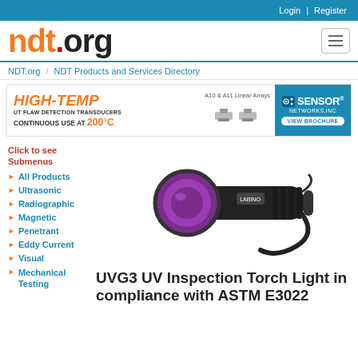Login | Register
[Figure (logo): ndt.org logo in orange and black with hamburger menu button]
NDT.org / NDT Products and Services Directory
[Figure (infographic): HIGH-TEMP UT Flaw Detection Transducers Continuous Use at 200°C - Sensor Networks Inc ad banner with A10 & A11 Linear Arrays]
Click to see Submenus
All Products
Ultrasonic
Radiographic
Magnetic
Penetrant
Eddy Current
Visual
Mechanical Testing
[Figure (photo): UVG3 UV Inspection Torch Light - black flashlight with purple UV LED lens and wrist strap]
UVG3 UV Inspection Torch Light in compliance with ASTM E3022